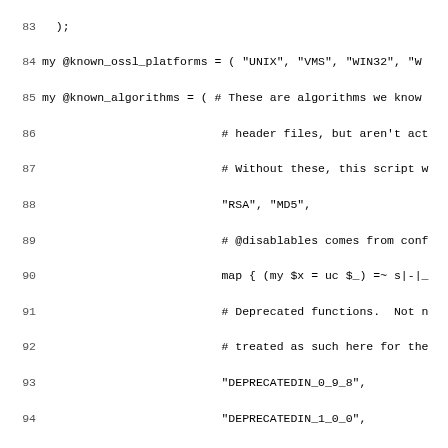[Figure (screenshot): Source code listing in Perl, lines 84-115, showing definitions of @known_ossl_platforms, @known_algorithms, %disabled_algorithms, and a foreach loop, with line numbers on the left and monospace code on the right.]